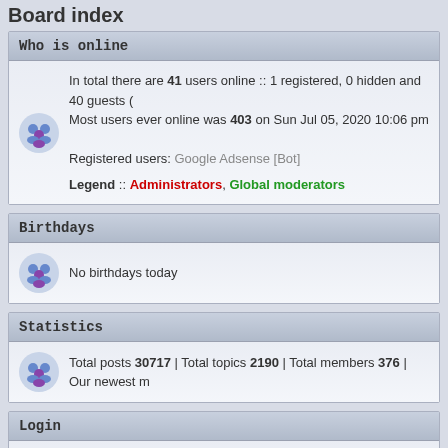Board index
Who is online
In total there are 41 users online :: 1 registered, 0 hidden and 40 guests (
Most users ever online was 403 on Sun Jul 05, 2020 10:06 pm
Registered users: Google Adsense [Bot]
Legend :: Administrators, Global moderators
Birthdays
No birthdays today
Statistics
Total posts 30717 | Total topics 2190 | Total members 376 | Our newest m
Login
Username: [input] Password: [input] Log
[Figure (infographic): Unread posts icon (orange diamond) and No unread posts icon (blue diamond) with labels]
Powered by phpBB © 2000, 2002, 2005, 2007 phpBB Group :: Style based on F